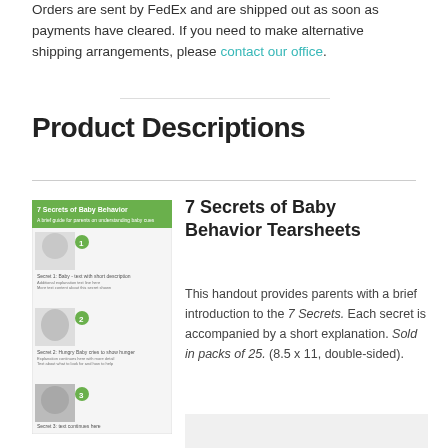Orders are sent by FedEx and are shipped out as soon as payments have cleared. If you need to make alternative shipping arrangements, please contact our office.
Product Descriptions
7 Secrets of Baby Behavior Tearsheets
This handout provides parents with a brief introduction to the 7 Secrets. Each secret is accompanied by a short explanation. Sold in packs of 25. (8.5 x 11, double-sided).
[Figure (illustration): Thumbnail preview of '7 Secrets of Baby Behavior' tearsheet booklet showing green header and baby photos with numbered secrets]